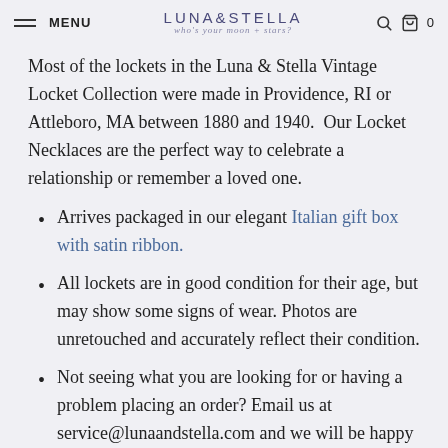MENU | LUNA & STELLA who's your moon + stars? | 0
Most of the lockets in the Luna & Stella Vintage Locket Collection were made in Providence, RI or Attleboro, MA between 1880 and 1940.  Our Locket Necklaces are the perfect way to celebrate a relationship or remember a loved one.
Arrives packaged in our elegant Italian gift box with satin ribbon.
All lockets are in good condition for their age, but may show some signs of wear. Photos are unretouched and accurately reflect their condition.
Not seeing what you are looking for or having a problem placing an order? Email us at service@lunaandstella.com and we will be happy to